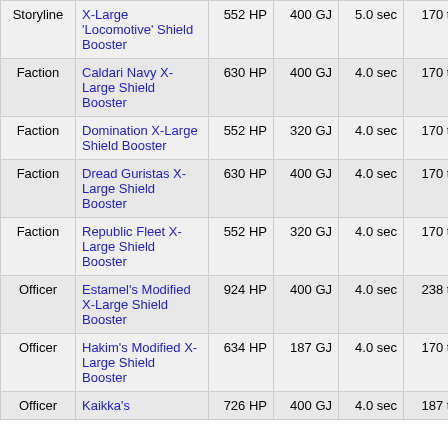| Type | Name | HP | GJ | sec | tf | MW |
| --- | --- | --- | --- | --- | --- | --- |
| Storyline | X-Large 'Locomotive' Shield Booster | 552 HP | 400 GJ | 5.0 sec | 170 tf | 450 MW |
| Faction | Caldari Navy X-Large Shield Booster | 630 HP | 400 GJ | 4.0 sec | 170 tf | 500 MW |
| Faction | Domination X-Large Shield Booster | 552 HP | 320 GJ | 4.0 sec | 170 tf | 500 MW |
| Faction | Dread Guristas X-Large Shield Booster | 630 HP | 400 GJ | 4.0 sec | 170 tf | 500 MW |
| Faction | Republic Fleet X-Large Shield Booster | 552 HP | 320 GJ | 4.0 sec | 170 tf | 500 MW |
| Officer | Estamel's Modified X-Large Shield Booster | 924 HP | 400 GJ | 4.0 sec | 238 tf | 500 MW |
| Officer | Hakim's Modified X-Large Shield Booster | 634 HP | 187 GJ | 4.0 sec | 170 tf | 500 MW |
| Officer | Kaikka's ... | 726 HP | 400 GJ | 4.0 sec | 187 tf | 500 MW |